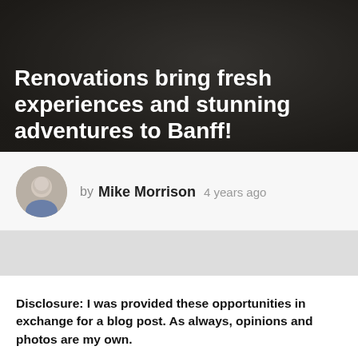Renovations bring fresh experiences and stunning adventures to Banff!
by Mike Morrison  4 years ago
Disclosure: I was provided these opportunities in exchange for a blog post. As always, opinions and photos are my own.
Having lived in Calgary for the past 14 years, I’ve been to Banff a lot.  And why wouldn’t